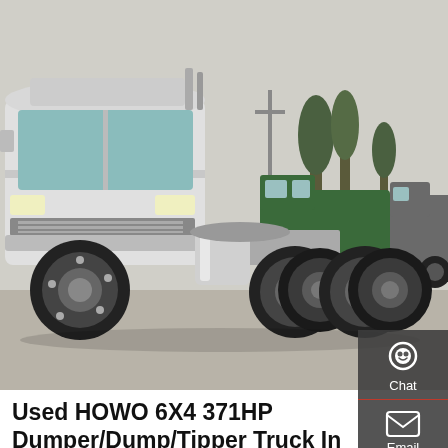[Figure (photo): Photograph of multiple HOWO heavy-duty trucks (white and green) parked in a lot. The white truck in the foreground is a 6X4 tractor unit without a dump body, showing the chassis and dual rear axles.]
Used HOWO 6X4 371HP Dumper/Dump/Tipper Truck In …
2. Our main Overseas Business Scope - All types of brand new and used heavy duty truck and light duty trucks - Special modified vehicle - All types of semitrailer - Construction equipment&Machinery - Pickup, VAN, Bus - Spare parts- Service & Maintenance 3. Used Dump Truck: Before delivery to our customers, every used trucks will be checked strictlly, the ...